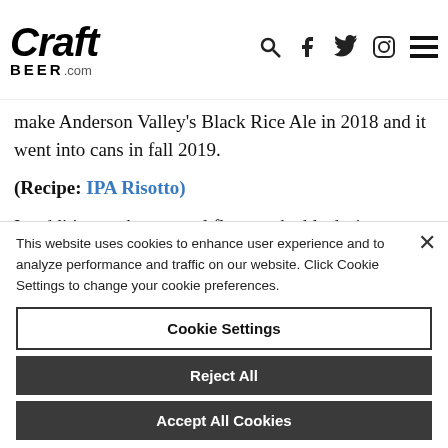CraftBeer.com
make Anderson Valley's Black Rice Ale in 2018 and it went into cans in fall 2019.
(Recipe: IPA Risotto)
In addition to the unusual flavors, the black rice provides a dark inky color to a light hoppy ale.
This website uses cookies to enhance user experience and to analyze performance and traffic on our website. Click Cookie Settings to change your cookie preferences.
Cookie Settings
Reject All
Accept All Cookies